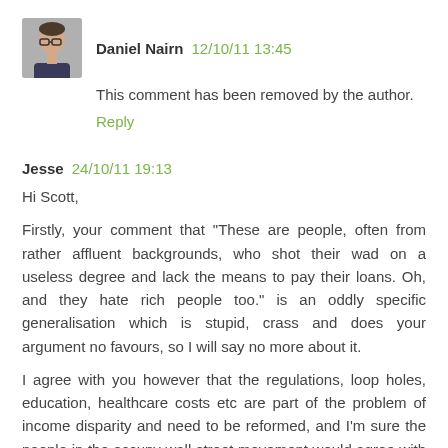[Figure (photo): Small avatar photo of Daniel Nairn, a person with glasses]
Daniel Nairn  12/10/11 13:45
This comment has been removed by the author.
Reply
Jesse  24/10/11 19:13
Hi Scott,
Firstly, your comment that "These are people, often from rather affluent backgrounds, who shot their wad on a useless degree and lack the means to pay their loans. Oh, and they hate rich people too." is an oddly specific generalisation which is stupid, crass and does your argument no favours, so I will say no more about it.
I agree with you however that the regulations, loop holes, education, healthcare costs etc are part of the problem of income disparity and need to be reformed, and I'm sure the people in the occupy wall street movement would agree with you too.